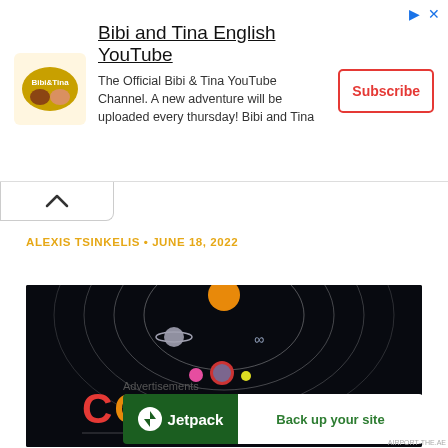[Figure (screenshot): Advertisement banner for Bibi and Tina English YouTube channel with logo, text, and subscribe button]
[Figure (screenshot): Collapse/hide arrow button (caret up)]
ALEXIS TSINKELIS • JUNE 18, 2022
[Figure (photo): Coldplay album art with colorful COLDPLAY text and space/planet graphics on dark background]
Advertisements
[Figure (screenshot): Jetpack advertisement banner with green background showing logo and 'Back up your site' button]